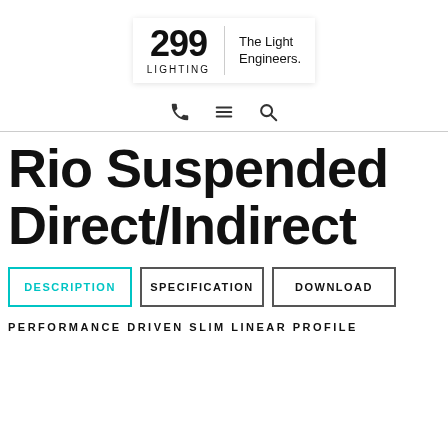[Figure (logo): 299 Lighting logo with 'The Light Engineers.' tagline]
[Figure (infographic): Navigation icons: phone, hamburger menu, search]
Rio Suspended Direct/Indirect
DESCRIPTION | SPECIFICATION | DOWNLOAD (tab buttons)
PERFORMANCE DRIVEN SLIM LINEAR PROFILE